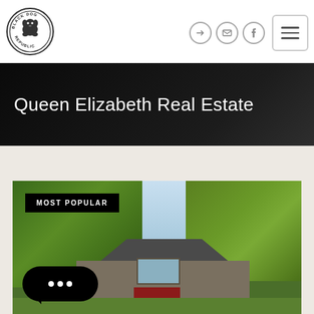[Figure (logo): Black Dog Republic circular logo with dog illustration]
Queen Elizabeth Real Estate
MOST POPULAR
[Figure (photo): Residential house exterior with trees and green foliage in summer]